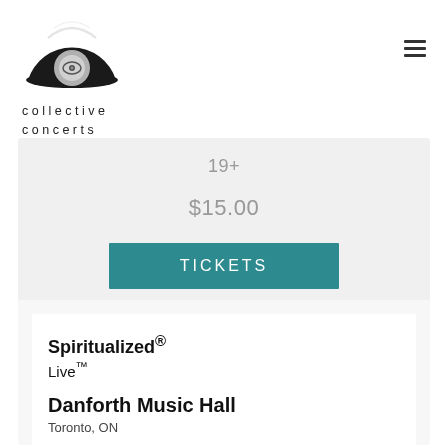[Figure (logo): Collective Concerts vinyl record logo — black semicircle record with silver label and a 'C' eye symbol in the center]
collective concerts
19+
$15.00
TICKETS
Spiritualized® Live™
Danforth Music Hall